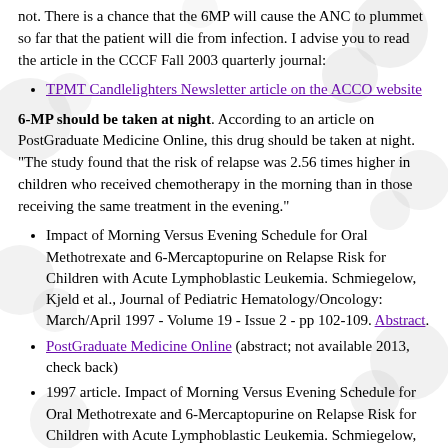not. There is a chance that the 6MP will cause the ANC to plummet so far that the patient will die from infection. I advise you to read the article in the CCCF Fall 2003 quarterly journal:
TPMT Candlelighters Newsletter article on the ACCO website
6-MP should be taken at night. According to an article on PostGraduate Medicine Online, this drug should be taken at night. "The study found that the risk of relapse was 2.56 times higher in children who received chemotherapy in the morning than in those receiving the same treatment in the evening."
Impact of Morning Versus Evening Schedule for Oral Methotrexate and 6-Mercaptopurine on Relapse Risk for Children with Acute Lymphoblastic Leukemia. Schmiegelow, Kjeld et al., Journal of Pediatric Hematology/Oncology: March/April 1997 - Volume 19 - Issue 2 - pp 102-109. Abstract.
PostGraduate Medicine Online (abstract; not available 2013, check back)
1997 article. Impact of Morning Versus Evening Schedule for Oral Methotrexate and 6-Mercaptopurine on Relapse Risk for Children with Acute Lymphoblastic Leukemia. Schmiegelow, Kjeld et al., Journal of Pediatric Hematology/Oncology: April 1997